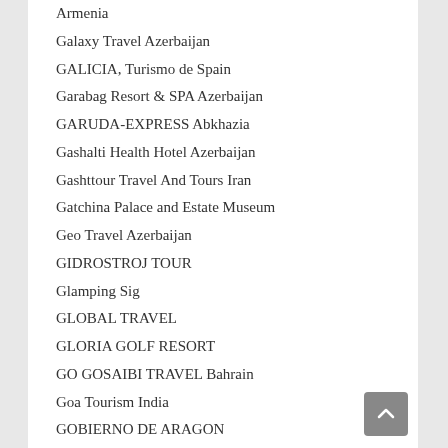Armenia
Galaxy Travel Azerbaijan
GALICIA, Turismo de Spain
Garabag Resort & SPA Azerbaijan
GARUDA-EXPRESS Abkhazia
Gashalti Health Hotel Azerbaijan
Gashttour Travel And Tours Iran
Gatchina Palace and Estate Museum
Geo Travel Azerbaijan
GIDROSTROJ TOUR
Glamping Sig
GLOBAL TRAVEL
GLORIA GOLF RESORT
GO GOSAIBI TRAVEL Bahrain
Goa Tourism India
GOBIERNO DE ARAGON
Golden Caravan Kazakhstan
Golden Globe International Azerbaijan
Golden Horde
Golden Tulip Krasnodar